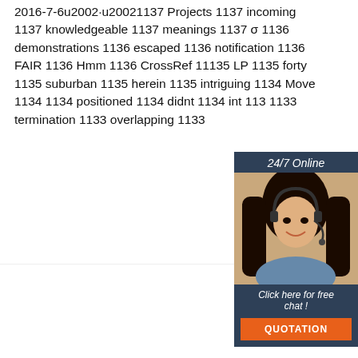2016-7-6u2002·u20021137 Projects 1137 incoming 1137 knowledgeable 1137 meanings 1137 σ 1136 demonstrations 1136 escaped 1136 notification 1136 FAIR 1136 Hmm 1136 CrossRef 1135 LP 1135 forty 1135 suburban 1135 herein 1135 intriguing 1134 Move 1134 1134 positioned 1134 didnt 1134 int 1133 1133 termination 1133 overlapping 1133
[Figure (photo): 24/7 online chat widget with woman wearing headset, dark blue background, click here for free chat, quotation button]
[Figure (illustration): Get Price orange button]
[Figure (illustration): Silver chain jewelry on left side at bottom]
[Figure (logo): TOP icon with orange dots forming arch above text]
[Figure (illustration): Silver chain jewelry on right side at bottom]